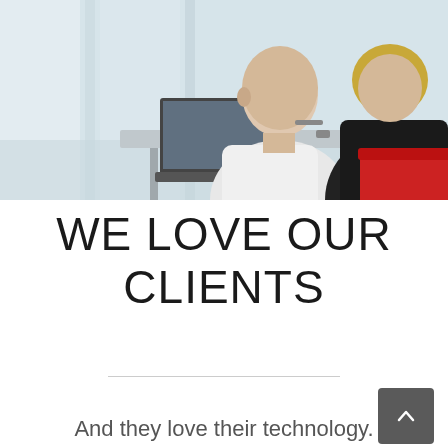[Figure (photo): Two people in a business meeting setting — a smiling bald man in a white shirt holding glasses, sitting across from a woman in a dark jacket, with a laptop on the table and bright windows in the background. The woman is seated in a red chair.]
WE LOVE OUR CLIENTS
And they love their technology.